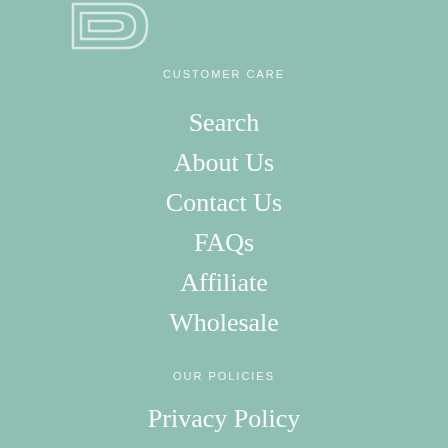[Figure (logo): Abstract geometric logo with overlapping rectangular lines in muted teal/white outline style, positioned top-left]
CUSTOMER CARE
Search
About Us
Contact Us
FAQs
Affiliate
Wholesale
OUR POLICIES
Privacy Policy
Refund Policy